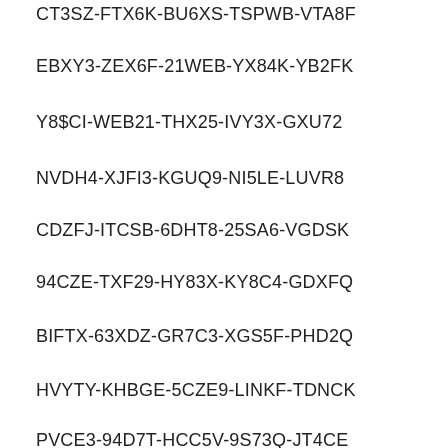CT3SZ-FTX6K-BU6XS-TSPWB-VTA8F
EBXY3-ZEX6F-21WEB-YX84K-YB2FK
Y8$CI-WEB21-THX25-IVY3X-GXU72
NVDH4-XJFI3-KGUQ9-NI5LE-LUVR8
CDZFJ-ITCSB-6DHT8-25SA6-VGDSK
94CZE-TXF29-HY83X-KY8C4-GDXFQ
BIFTX-63XDZ-GR7C3-XGS5F-PHD2Q
HVYTY-KHBGE-5CZE9-LINKF-TDNCK
PVCE3-94D7T-HCC5V-9S73Q-JT4CE